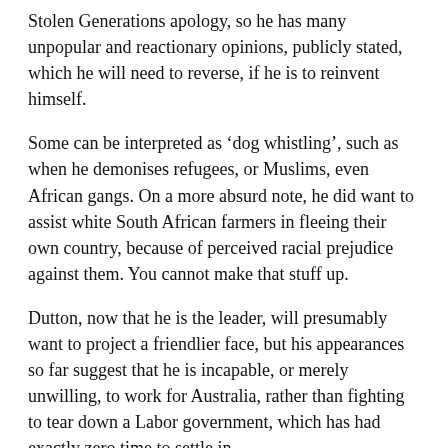Stolen Generations apology, so he has many unpopular and reactionary opinions, publicly stated, which he will need to reverse, if he is to reinvent himself.
Some can be interpreted as 'dog whistling', such as when he demonises refugees, or Muslims, even African gangs. On a more absurd note, he did want to assist white South African farmers in fleeing their own country, because of perceived racial prejudice against them. You cannot make that stuff up.
Dutton, now that he is the leader, will presumably want to project a friendlier face, but his appearances so far suggest that he is incapable, or merely unwilling, to work for Australia, rather than fighting to tear down a Labor government, which has had exactly zero time to settle in.
I think he will find inner Sydney and Melbourne harder to convince of his bona fides. He didn't exactly cover himself in glory when his first thought, upon taking over Defence, was to